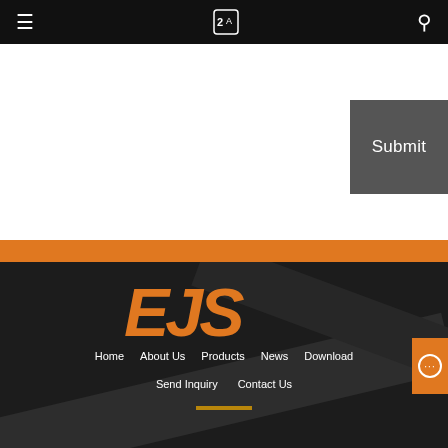Navigation bar with menu icon, translate icon, and search icon
[Figure (screenshot): Submit button (dark gray) in upper right of white form area]
[Figure (logo): EJS logo in bold orange italic text on dark background]
Home   About Us   Products   News   Download
Send Inquiry   Contact Us